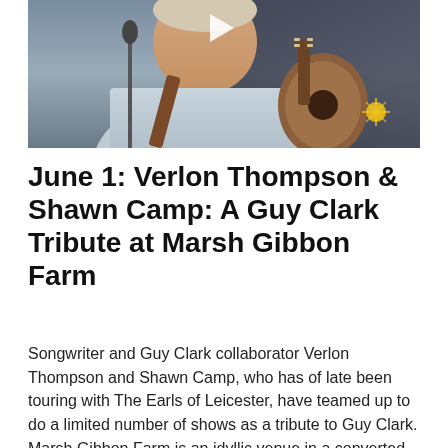[Figure (photo): A man playing guitar, performing at a microphone. He is wearing a light blue shirt with a guitar strap. A play button overlay is visible at the top center of the image.]
June 1: Verlon Thompson & Shawn Camp: A Guy Clark Tribute at Marsh Gibbon Farm
Songwriter and Guy Clark collaborator Verlon Thompson and Shawn Camp, who has of late been touring with The Earls of Leicester, have teamed up to do a limited number of shows as a tribute to Guy Clark. Marsh Gibbon Farm is an idyllic venue in a converted barn that recently hosted Hawktail. RSVPs are required—and limited. Learn more on